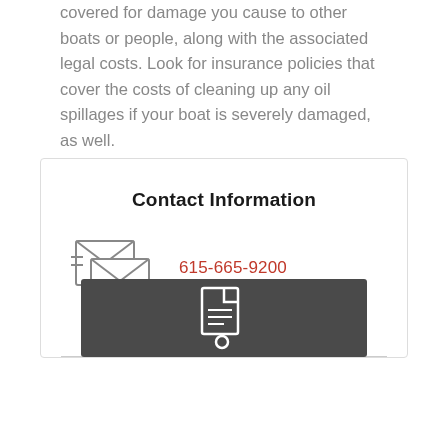covered for damage you cause to other boats or people, along with the associated legal costs. Look for insurance policies that cover the costs of cleaning up any oil spillages if your boat is severely damaged, as well.
Contact Information
[Figure (illustration): Envelope icon with stacked mail/messages graphic in outline style]
615-665-9200
insurance@robinsins.com
[Figure (illustration): Dark gray box at bottom with document/file icon in white outline]